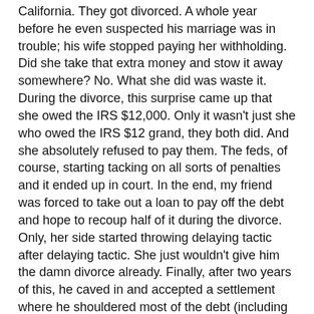California. They got divorced. A whole year before he even suspected his marriage was in trouble; his wife stopped paying her withholding. Did she take that extra money and stow it away somewhere? No. What she did was waste it. During the divorce, this surprise came up that she owed the IRS $12,000. Only it wasn't just she who owed the IRS $12 grand, they both did. And she absolutely refused to pay them. The feds, of course, starting tacking on all sorts of penalties and it ended up in court. In the end, my friend was forced to take out a loan to pay off the debt and hope to recoup half of it during the divorce. Only, her side started throwing delaying tactic after delaying tactic. She just wouldn't give him the damn divorce already. Finally, after two years of this, he caved in and accepted a settlement where he shouldered most of the debt (including about $50 grand in student loan debt that got co-mingled, during their marriage). And she made more of a salary than him! Ah yes, no-fault divorce…..what a concept.
The only way to avoid THAT noise is not to marry.
Previous Bonecrcker Index Next